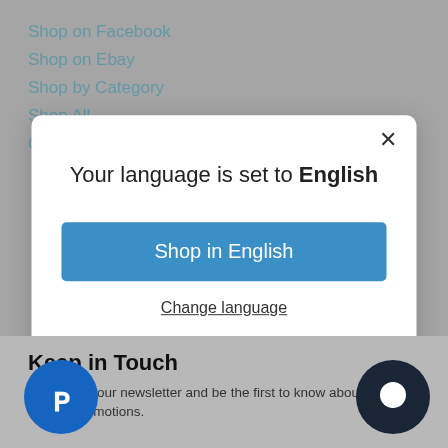Shop on Facebook
Shop on Ebay
Shop by Category
Shop All
Coupons and Discounts
[Figure (screenshot): Modal dialog with close button (×), title 'Your language is set to English', a blue 'Shop in English' button, and a 'Change language' link]
Keep in Touch
Sign up for our newsletter and be the first to know about deals and special promotions.